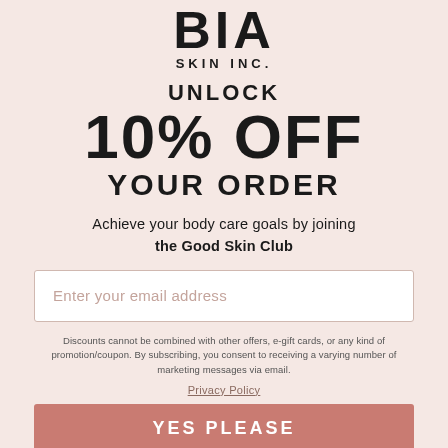BIA SKIN INC.
UNLOCK 10% OFF YOUR ORDER
Achieve your body care goals by joining the Good Skin Club
Enter your email address
Discounts cannot be combined with other offers, e-gift cards, or any kind of promotion/coupon. By subscribing, you consent to receiving a varying number of marketing messages via email.
Privacy Policy
YES PLEASE